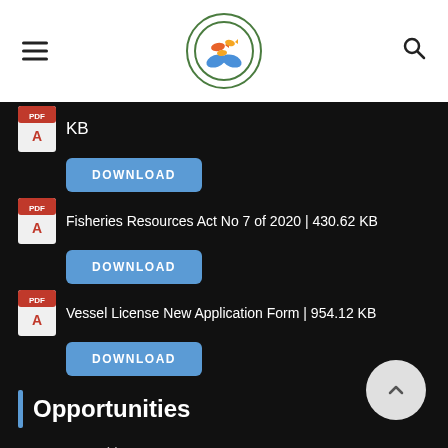[Figure (logo): Fisheries department circular logo with fish and hands, green border]
KB
DOWNLOAD
Fisheries Resources Act No 7 of 2020 | 430.62 KB
DOWNLOAD
Vessel License New Application Form | 954.12 KB
DOWNLOAD
Opportunities
Opportunities
Updates